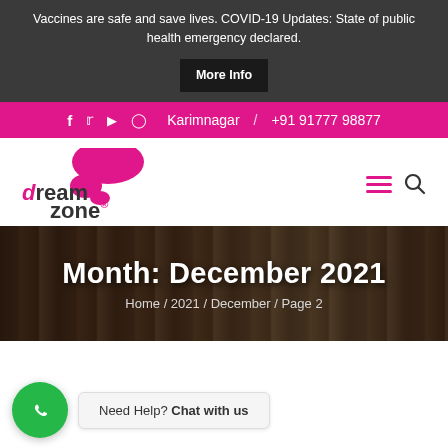Vaccines are safe and save lives. COVID-19 Updates: State of public health emergency declared. More Info
f  twitter  youtube  instagram  Karimnagar / +91 91777 98877
[Figure (logo): DreamZone school of creative studies logo with pink speech bubbles and magenta/dark text]
Month: December 2021
Home / 2021 / December / Page 2
Need Help? Chat with us